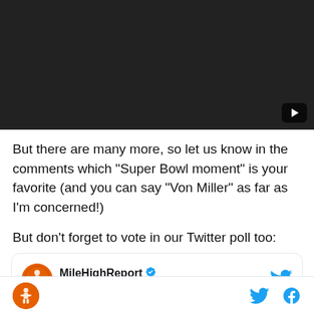[Figure (screenshot): Dark video thumbnail with YouTube play button in bottom-right corner]
But there are many more, so let us know in the comments which “Super Bowl moment” is your favorite (and you can say “Von Miller” as far as I’m concerned!)
But don’t forget to vote in our Twitter poll too:
[Figure (screenshot): Embedded tweet from @MileHighReport with verified badge and Follow button. Tweet text begins: We are contributing to an @SBNation project and would like to]
MileHighReport logo | Twitter icon | Facebook icon